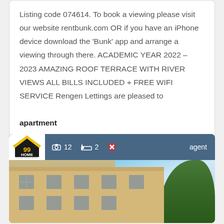Listing code 074614. To book a viewing please visit our website rentbunk.com OR if you have an iPhone device download the 'Bunk' app and arrange a viewing through there. ACADEMIC YEAR 2022 –2023 AMAZING ROOF TERRACE WITH RIVER VIEWS ALL BILLS INCLUDED + FREE WIFI SERVICE Rengen Lettings are pleased to
apartment
1 Bedrooms, (0.1 miles from Bath)
[Figure (photo): Property listing card with 99Home estate agent logo, showing 12 photos, 2 bedrooms, pets indicator, and agent label. Background shows a Georgian stone building facade with sash windows and a tree on the right side.]